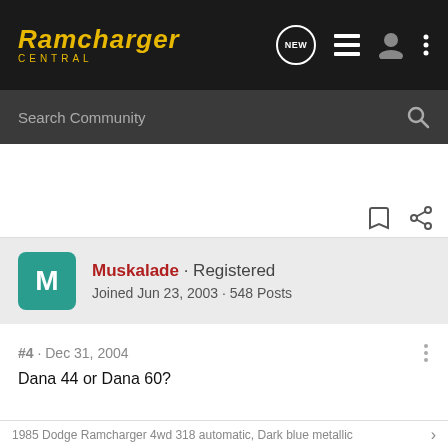Ramcharger Central
Search Community
Muskalade · Registered
Joined Jun 23, 2003 · 548 Posts
#4 · Dec 31, 2004
Dana 44 or Dana 60?
1985 Dodge Ramcharger 4wd 318 automatic, Dark blue metallic